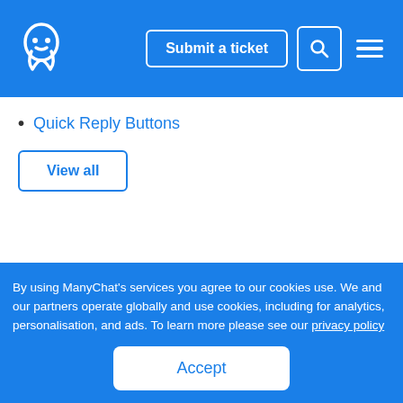ManyChat logo | Submit a ticket | Search | Menu
Quick Reply Buttons
View all
ManyChat Inc. 2021   Terms Of Service   Privacy Policy
By using ManyChat’s services you agree to our cookies use. We and our partners operate globally and use cookies, including for analytics, personalisation, and ads. To learn more please see our privacy policy
Accept